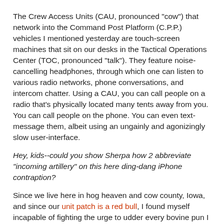The Crew Access Units (CAU, pronounced "cow") that network into the Command Post Platform (C.P.P.) vehicles I mentioned yesterday are touch-screen machines that sit on our desks in the Tactical Operations Center (TOC, pronounced "talk"). They feature noise-cancelling headphones, through which one can listen to various radio networks, phone conversations, and intercom chatter. Using a CAU, you can call people on a radio that's physically located many tents away from you. You can call people on the phone. You can even text-message them, albeit using an ungainly and agonizingly slow user-interface.
Hey, kids--could you show Sherpa how 2 abbreviate "incoming artillery" on this here ding-dang iPhone contraption?
Since we live here in hog heaven and cow county, Iowa, and since our unit patch is a red bull, I found myself incapable of fighting the urge to udder every bovine pun I could come up with during CAU training:
"Well, hold on 'til the CAU comes home."